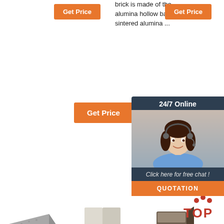[Figure (screenshot): Orange 'Get Price' button top left]
brick is made of the alumina hollow ball, the sintered alumina ...
[Figure (screenshot): Orange 'Get Price' button top right]
[Figure (screenshot): Orange 'Get Price' button middle]
[Figure (screenshot): 24/7 Online chat widget with agent photo and QUOTATION button]
[Figure (photo): Fireclay Brick - grey refractory brick product photo]
[Figure (photo): high purity corundum brick product photo]
[Figure (photo): Anchor Brick - Kiln Refractory Bricks product photo]
Fireclay Brick High alumina brick for iron and steel ...
high purity corundum brick, high purity corundum brick ...
Anchor Brick - Kiln Refractory Bricks & Castable Refractory
2018-12-14u2002·u2002Fireclay
2021-7-